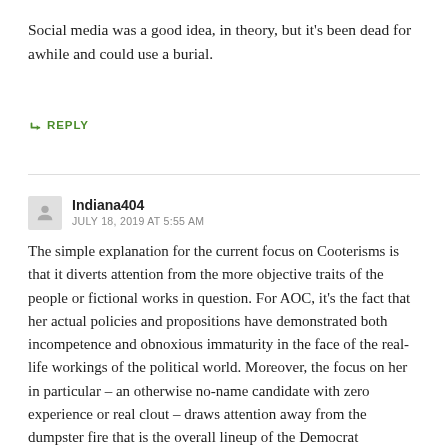Social media was a good idea, in theory, but it's been dead for awhile and could use a burial.
↳ REPLY
Indiana404
JULY 18, 2019 AT 5:55 AM
The simple explanation for the current focus on Cooterisms is that it diverts attention from the more objective traits of the people or fictional works in question. For AOC, it's the fact that her actual policies and propositions have demonstrated both incompetence and obnoxious immaturity in the face of the real-life workings of the political world. Moreover, the focus on her in particular – an otherwise no-name candidate with zero experience or real clout – draws attention away from the dumpster fire that is the overall lineup of the Democrat